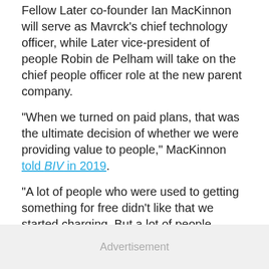Fellow Later co-founder Ian MacKinnon will serve as Mavrck's chief technology officer, while Later vice-president of people Robin de Pelham will take on the chief people officer role at the new parent company.
“When we turned on paid plans, that was the ultimate decision of whether we were providing value to people,” MacKinnon told BIV in 2019.
“A lot of people who were used to getting something for free didn’t like that we started charging. But a lot of people started paying, and that’s when we really knew that we were providing something of value.”
torton@biv.com
twitter.com/reporton
Advertisement